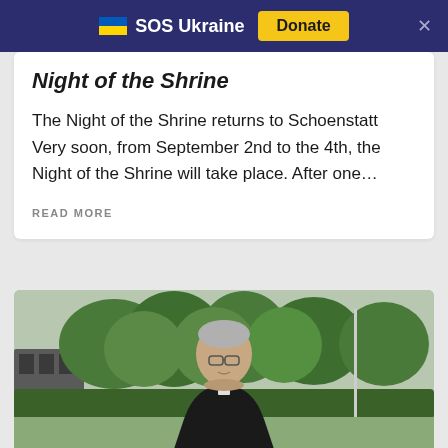🇺🇦 SOS Ukraine   Donate
Night of the Shrine
The Night of the Shrine returns to Schoenstatt Very soon, from September 2nd to the 4th, the Night of the Shrine will take place. After one…
READ MORE
[Figure (photo): Outdoor photo of an elderly priest in black clerical attire standing in front of lush green trees and a building, with a flagpole visible in the background.]